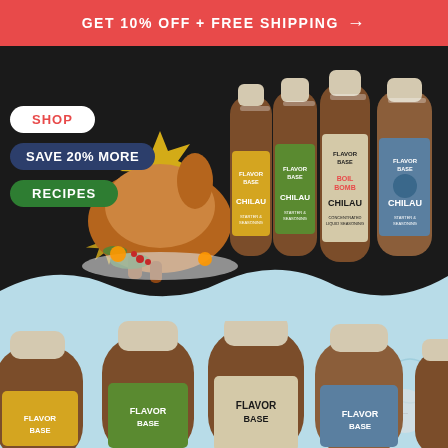GET 10% OFF + FREE SHIPPING →
SHOP
SAVE 20% MORE
RECIPES
[Figure (photo): Roasted turkey on a platter with garnishes and decorative gold star burst]
[Figure (photo): Four Chilau Flavor Base sauce bottles: original, Cajun/green, Boil Bomb, and 100% Trinidadian variant]
[Figure (photo): Four Chilau Flavor Base sauce bottles partially cropped at bottom of page on light blue background with seafood outline decorations]